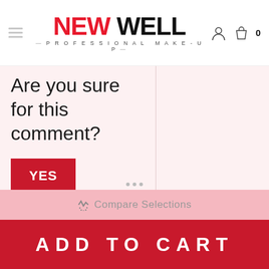[Figure (logo): NEW WELL Professional Make-Up logo with hamburger menu icon and shopping cart icon with badge 0]
Are you sure for this comment?
YES
NO
Compare Selections
ADD TO CART